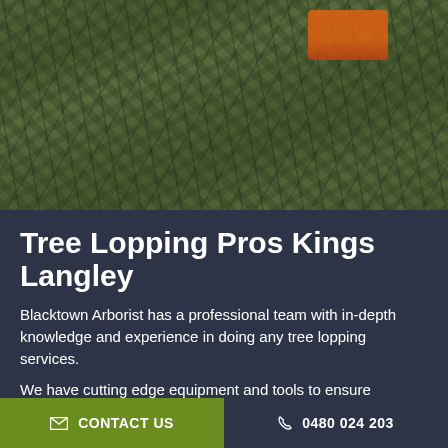[Figure (photo): A person in camouflage gear working with a chainsaw among tree branches and foliage, tree lopping work in progress]
Tree Lopping Pros Kings Langley
Blacktown Arborist has a professional team with in-depth knowledge and experience in doing any tree lopping services.
We have cutting edge equipment and tools to ensure absolute safety with our tree lopping services without causing harm to the house.
✉ CONTACT US   📞 0480 024 203